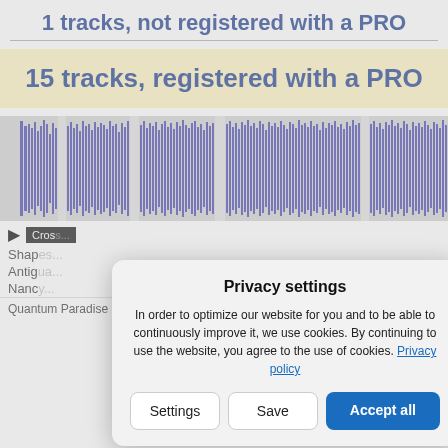1 tracks, not registered with a PRO
15 tracks, registered with a PRO
[Figure (other): Audio waveform visualization showing dense blue waveform pattern on grey background]
Crossroads
Shapes
Antigua
Nando
Quantum Paradise (acoustic drums version)(04:57)
Privacy settings
In order to optimize our website for you and to be able to continuously improve it, we use cookies. By continuing to use the website, you agree to the use of cookies. Privacy policy
Settings | Save | Accept all